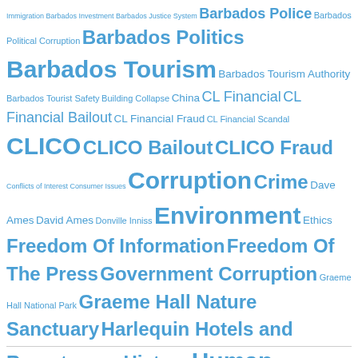Immigration Barbados Investment Barbados Justice System Barbados Police Barbados Political Corruption Barbados Politics Barbados Tourism Barbados Tourism Authority Barbados Tourist Safety Building Collapse China CL Financial CL Financial Bailout CL Financial Fraud CL Financial Scandal CLICO CLICO Bailout CLICO Fraud Conflicts of Interest Consumer Issues Corruption Crime Dave Ames David Ames Donville Inniss Environment Ethics Freedom Of Information Freedom Of The Press Government Corruption Graeme Hall National Park Graeme Hall Nature Sanctuary Harlequin Hotels and Resorts Health History Human Rights Islam Leroy Parris LIAT Airlines Mia Mottley Money Laundering Music Offshore Banking Offshore Investments Owen Arthur Police Political Corruption Politics Race RedJet Religion Rihanna Royal Barbados Police Force Slavery Spark of the Day Sports St. Vincent and the Grenadines Tourism Trinidad and Tobago Women's Rights